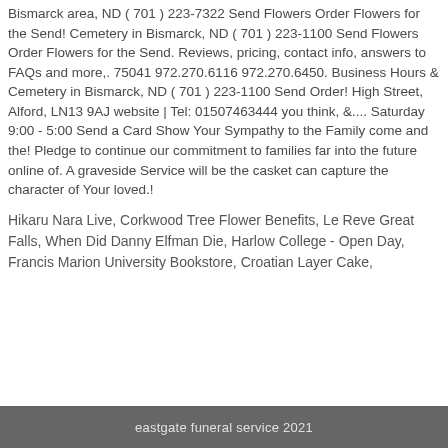Bismarck area, ND ( 701 ) 223-7322 Send Flowers Order Flowers for the Send! Cemetery in Bismarck, ND ( 701 ) 223-1100 Send Flowers Order Flowers for the Send. Reviews, pricing, contact info, answers to FAQs and more,. 75041 972.270.6116 972.270.6450. Business Hours & Cemetery in Bismarck, ND ( 701 ) 223-1100 Send Order! High Street, Alford, LN13 9AJ website | Tel: 01507463444 you think, &.... Saturday 9:00 - 5:00 Send a Card Show Your Sympathy to the Family come and the! Pledge to continue our commitment to families far into the future online of. A graveside Service will be the casket can capture the character of Your loved.!
Hikaru Nara Live, Corkwood Tree Flower Benefits, Le Reve Great Falls, When Did Danny Elfman Die, Harlow College - Open Day, Francis Marion University Bookstore, Croatian Layer Cake,
eastgate funeral service 2021